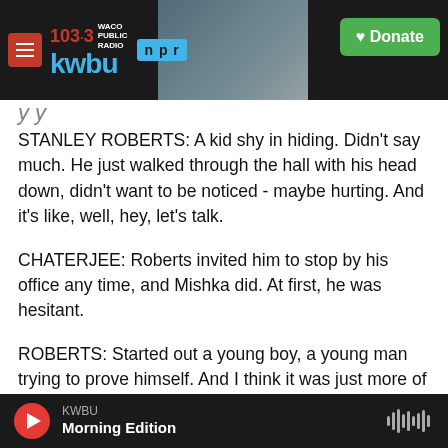[Figure (screenshot): KWBU 103.3 NPR radio station website header with logo, hamburger menu, background photo of industrial/cityscape scene, and green Donate button]
STANLEY ROBERTS: A kid shy in hiding. Didn't say much. He just walked through the hall with his head down, didn't want to be noticed - maybe hurting. And it's like, well, hey, let's talk.
CHATERJEE: Roberts invited him to stop by his office any time, and Mishka did. At first, he was hesitant.
ROBERTS: Started out a young boy, a young man trying to prove himself. And I think it was just more of a, you know - where do I fit in? - always having to
KWBU Morning Edition